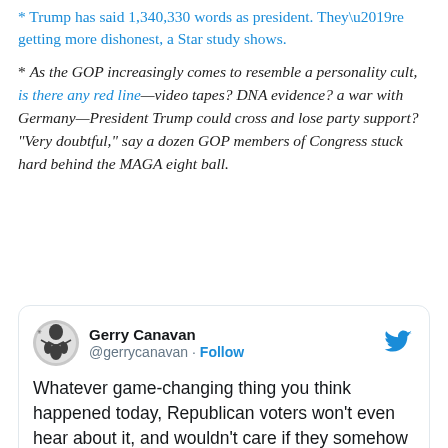* Trump has said 1,340,330 words as president. They’re getting more dishonest, a Star study shows.
* As the GOP increasingly comes to resemble a personality cult, is there any red line—video tapes? DNA evidence? a war with Germany—President Trump could cross and lose party support? “Very doubtful,” say a dozen GOP members of Congress stuck hard behind the MAGA eight ball.
[Figure (screenshot): Tweet by Gerry Canavan (@gerrycanavan) with Follow button and Twitter bird logo. Tweet text: 'Whatever game-changing thing you think happened today, Republican voters won’t even hear about it, and wouldn’t care if they somehow did. Same as all the other']